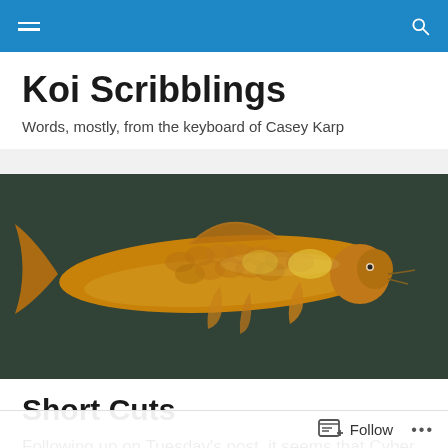Koi Scribblings — site navigation header bar
Koi Scribblings
Words, mostly, from the keyboard of Casey Karp
[Figure (photo): A golden/orange koi fish photographed from above against a dark water background]
Short Cuts
Following up on Tuesday's post, it seems that Cyber
Follow ...